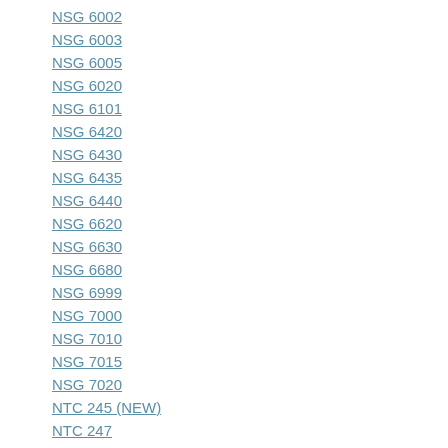NSG 6002
NSG 6003
NSG 6005
NSG 6020
NSG 6101
NSG 6420
NSG 6430
NSG 6435
NSG 6440
NSG 6620
NSG 6630
NSG 6680
NSG 6999
NSG 7000
NSG 7010
NSG 7015
NSG 7020
NTC 245 (NEW)
NTC 247